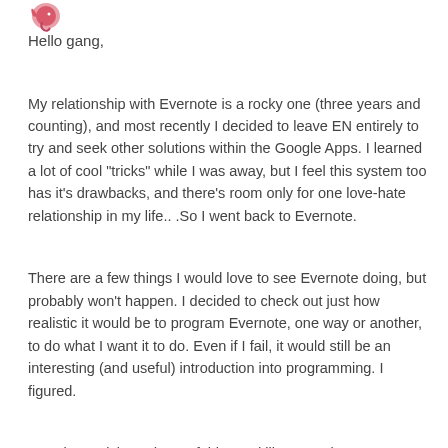[Figure (logo): Evernote logo (pink/red elephant icon) in top left corner]
Hello gang,
My relationship with Evernote is a rocky one (three years and counting), and most recently I decided to leave EN entirely to try and seek other solutions within the Google Apps. I learned a lot of cool "tricks" while I was away, but I feel this system too has it's drawbacks, and there's room only for one love-hate relationship in my life.. .So I went back to Evernote.
There are a few things I would love to see Evernote doing, but probably won't happen. I decided to check out just how realistic it would be to program Evernote, one way or another, to do what I want it to do. Even if I fail, it would still be an interesting (and useful) introduction into programming. I figured.
Here is a quick rundown of things I'd like to work on:
Color for the notes in the snippet (not the note itself) window: I